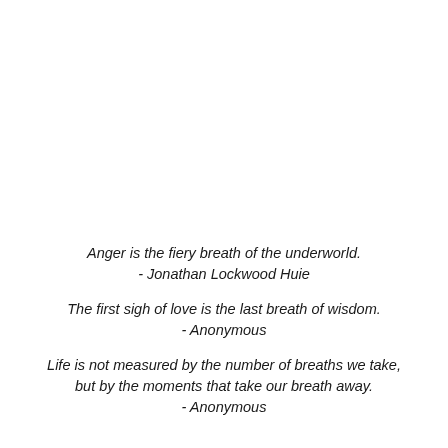Anger is the fiery breath of the underworld. - Jonathan Lockwood Huie
The first sigh of love is the last breath of wisdom. - Anonymous
Life is not measured by the number of breaths we take, but by the moments that take our breath away. - Anonymous